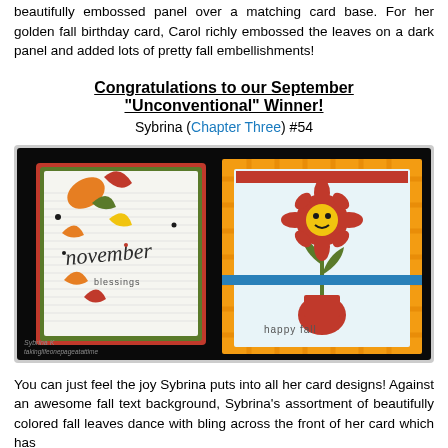beautifully embossed panel over a matching card base. For her golden fall birthday card, Carol richly embossed the leaves on a dark panel and added lots of pretty fall embellishments!
Congratulations to our September "Unconventional" Winner!
Sybrina (Chapter Three) #54
[Figure (photo): Two handmade greeting cards displayed against a black background. Left card has a white textured panel with colorful fall leaves and 'november blessings' script. Right card has an orange plaid background with a cheerful flower in a red vase and 'happy fall' text. Watermark reads 'Sybrina K takinglifeonepageatattime'.]
You can just feel the joy Sybrina puts into all her card designs! Against an awesome fall text background, Sybrina's assortment of beautifully colored fall leaves dance with bling across the front of her card which has